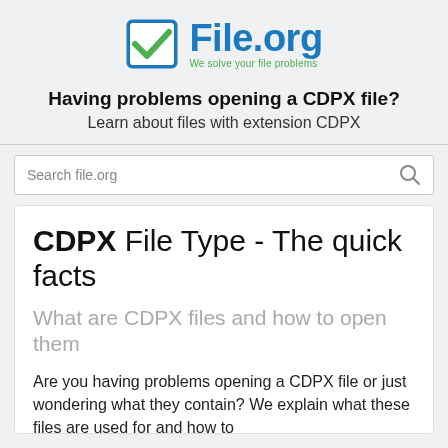[Figure (logo): File.org logo with blue checkbox icon and blue 'File.org' text with green tagline 'We solve your file problems']
Having problems opening a CDPX file?
Learn about files with extension CDPX
CDPX File Type - The quick facts
What are CDPX files and how to open them
Are you having problems opening a CDPX file or just wondering what they contain? We explain what these files are used for and how to